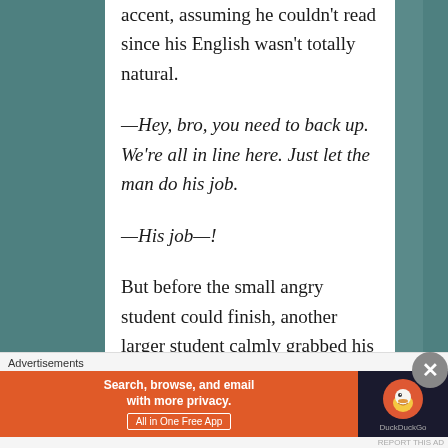accent, assuming he couldn't read since his English wasn't totally natural.
—Hey, bro, you need to back up. We're all in line here. Just let the man do his job.
—His job—!
But before the small angry student could finish, another larger student calmly grabbed his backpack and shoved him out of the line. The smaller
Advertisements
[Figure (other): DuckDuckGo advertisement banner: orange section with text 'Search, browse, and email with more privacy. All in One Free App' and dark section with DuckDuckGo duck logo]